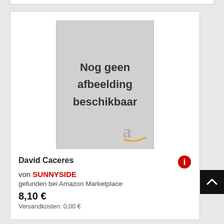[Figure (illustration): Book cover placeholder image with text 'Nog geen afbeelding beschikbaar' and Amazon logo]
David Caceres
von SUNNYSIDE
gefunden bei Amazon Marketplace
8,10 €
Versandkosten: 0,00 €